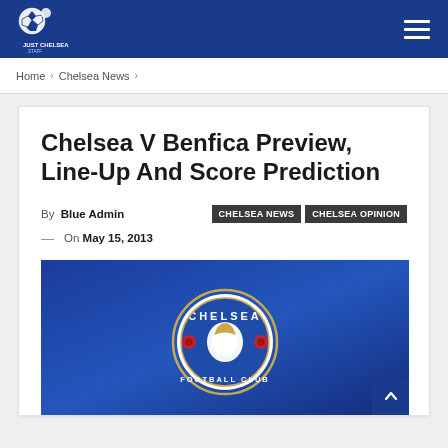Just Chelsea
Home > Chelsea News >
Chelsea V Benfica Preview, Line-Up And Score Prediction
By Blue Admin   CHELSEA NEWS  CHELSEA OPINION
— On May 15, 2013
[Figure (photo): Chelsea Football Club badge/crest on a blue background]